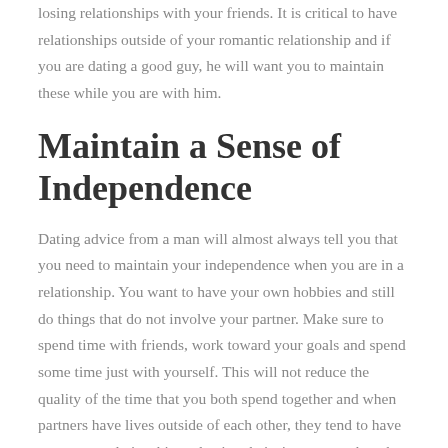losing relationships with your friends. It is critical to have relationships outside of your romantic relationship and if you are dating a good guy, he will want you to maintain these while you are with him.
Maintain a Sense of Independence
Dating advice from a man will almost always tell you that you need to maintain your independence when you are in a relationship. You want to have your own hobbies and still do things that do not involve your partner. Make sure to spend time with friends, work toward your goals and spend some time just with yourself. This will not reduce the quality of the time that you both spend together and when partners have lives outside of each other, they tend to have a stronger relationship and enjoy their time more when they are together.
Do Something Nice Just to